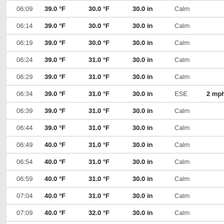| Time | Temp | Dew Point | Pressure | Wind Dir | Wind Speed |
| --- | --- | --- | --- | --- | --- |
| 06:09 | 39.0 °F | 30.0 °F | 30.0 in | Calm |  |
| 06:14 | 39.0 °F | 30.0 °F | 30.0 in | Calm |  |
| 06:19 | 39.0 °F | 30.0 °F | 30.0 in | Calm |  |
| 06:24 | 39.0 °F | 31.0 °F | 30.0 in | Calm |  |
| 06:29 | 39.0 °F | 31.0 °F | 30.0 in | Calm |  |
| 06:34 | 39.0 °F | 31.0 °F | 30.0 in | ESE | 2 mph |
| 06:39 | 39.0 °F | 31.0 °F | 30.0 in | Calm |  |
| 06:44 | 39.0 °F | 31.0 °F | 30.0 in | Calm |  |
| 06:49 | 40.0 °F | 31.0 °F | 30.0 in | Calm |  |
| 06:54 | 40.0 °F | 31.0 °F | 30.0 in | Calm |  |
| 06:59 | 40.0 °F | 31.0 °F | 30.0 in | Calm |  |
| 07:04 | 40.0 °F | 31.0 °F | 30.0 in | Calm |  |
| 07:09 | 40.0 °F | 32.0 °F | 30.0 in | Calm |  |